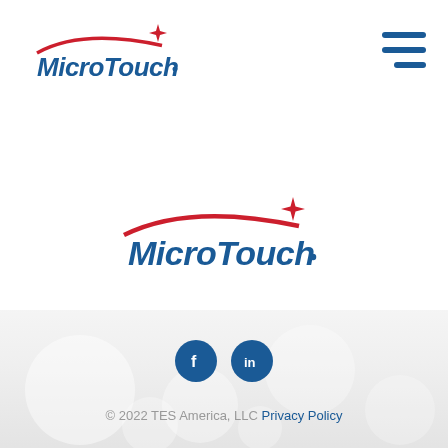[Figure (logo): MicroTouch logo top-left with red star and swoosh, blue text]
[Figure (other): Hamburger menu icon (three blue horizontal lines) top-right]
[Figure (logo): MicroTouch logo centered with red star and swoosh, blue text]
[Figure (other): Facebook and LinkedIn social media icons (blue circles with white F and in logos)]
© 2022 TES America, LLC Privacy Policy